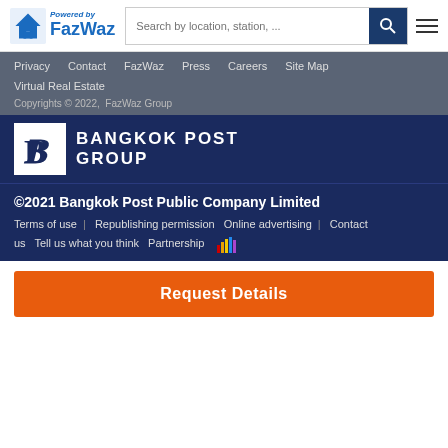[Figure (logo): FazWaz powered by logo with house icon and search bar]
Privacy  Contact  FazWaz  Press  Careers  Site Map
Virtual Real Estate
Copyrights © 2022,  FazWaz Group
[Figure (logo): Bangkok Post Group logo with old English B letter mark and BANGKOK POST GROUP text]
©2021 Bangkok Post Public Company Limited
Terms of use  Republishing permission  Online advertising  Contact us  Tell us what you think  Partnership
Request Details